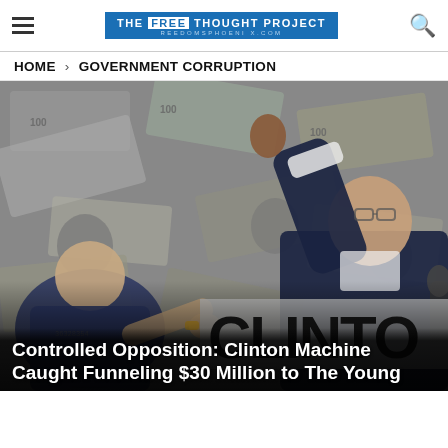The Free Thought Project — HOME > GOVERNMENT CORRUPTION
[Figure (photo): Composite photo of two political figures high-fiving in front of a pile of $100 bills. A man in a dark suit has his arm raised. A woman in a navy jacket reaches toward him. Overlaid text stamp reads 'CLINTON'.]
Controlled Opposition: Clinton Machine Caught Funneling $30 Million to The Young...